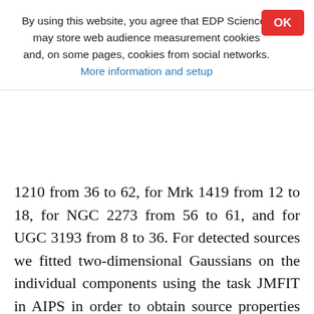By using this website, you agree that EDP Sciences may store web audience measurement cookies and, on some pages, cookies from social networks. More information and setup
1210 from 36 to 62, for Mrk 1419 from 12 to 18, for NGC 2273 from 56 to 61, and for UGC 3193 from 8 to 36. For detected sources we fitted two-dimensional Gaussians on the individual components using the task JMFIT in AIPS in order to obtain source properties such as peak and integrated flux, position, and its uncertainty (when the continuum components are more complicated, multi-Gaussians are fitted over emission >3σ). The result is presented in Table 2. For detected sources, when a source has more than one component, the flux reported in Table 2 is the total flux density which includes all the components². For positions reported in Tables 1 and 2, the uncertainties include the statistical